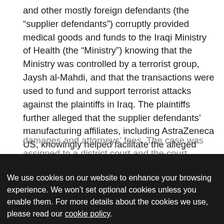and other mostly foreign defendants (the “supplier defendants”) corruptly provided medical goods and funds to the Iraqi Ministry of Health (the “Ministry”) knowing that the Ministry was controlled by a terrorist group, Jaysh al-Mahdi, and that the transactions were used to fund and support terrorist attacks against the plaintiffs in Iraq. The plaintiffs further alleged that the supplier defendants’ manufacturing affiliates, including AstraZeneca US, knowingly helped facilitate the alleged misconduct. Plaintiffs asserted claims of aiding and abetting terrorism, material support of terrorism and financing terrorism under the federal ATA, as well as various state law claims. Plaintiffs sought joint and several liability, unspecified compensatory and punitive
damages and attorneys’ fees. The case was assigned to a district...
We use cookies on our website to enhance your browsing experience. We won’t set optional cookies unless you enable them. For more details about the cookies we use, please read our cookie policy.